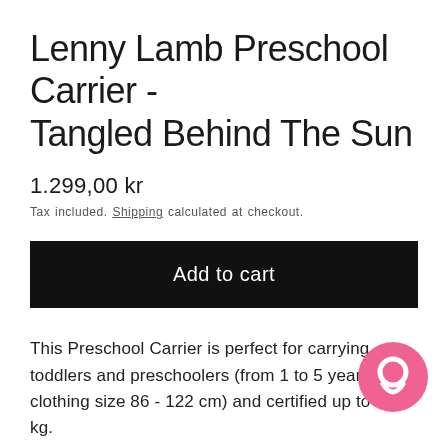Lenny Lamb Preschool Carrier - Tangled Behind The Sun
1.299,00 kr
Tax included. Shipping calculated at checkout.
Add to cart
This Preschool Carrier is perfect for carrying toddlers and preschoolers (from 1 to 5 years old / clothing size 86 - 122 cm) and certified up to 30 kg.
Key features:
the panel has a multi level adjustment to ensure a perfect